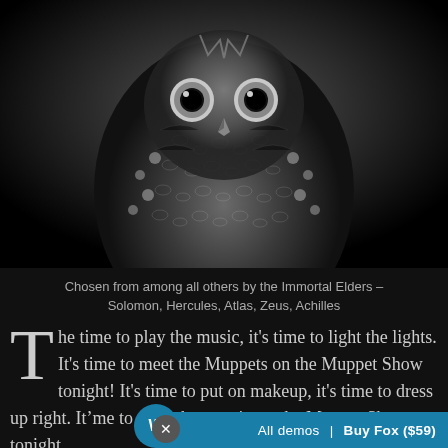[Figure (photo): Black and white close-up photograph of an owl facing the camera, showing detailed feather patterns on a dark background]
Chosen from among all others by the Immortal Elders – Solomon, Hercules, Atlas, Zeus, Achilles
The time to play the music, it's time to light the lights. It's time to meet the Muppets on the Muppet Show tonight! It's time to put on makeup, it's time to dress up right. It's time to raise the curtain on the Muppet Show tonight.
All demos | Buy Fox ($59)